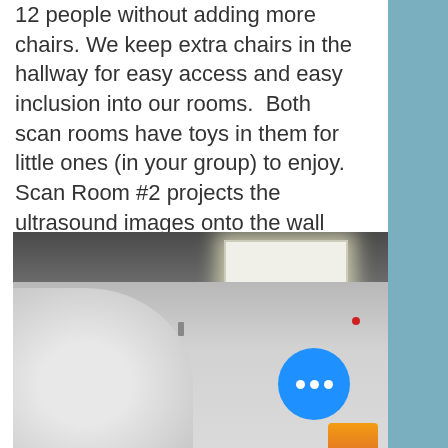12 people without adding more chairs. We keep extra chairs in the hallway for easy access and easy inclusion into our rooms.  Both scan rooms have toys in them for little ones (in your group) to enjoy.  Scan Room #2 projects the ultrasound images onto the wall over the toy area and Scan Room #1 has one large TV and several smaller TVs for easy viewing anywhere in the room.
[Figure (photo): Interior photo of a scan room showing a white ceiling with a fluorescent light panel, light grey walls, a small wall switch or outlet, a red indicator light, a blue circular button with three dots (more options), and orange items partially visible at the bottom right corner.]